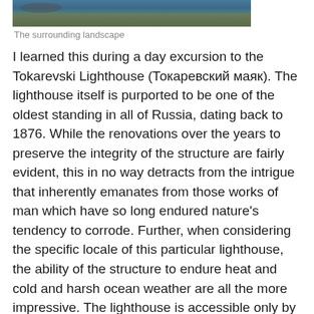[Figure (photo): Partial view of coastal landscape with water and rocky shore, bottom portion of a photograph showing the surrounding landscape near Tokarevski Lighthouse.]
The surrounding landscape
I learned this during a day excursion to the Tokarevski Lighthouse (Токаревский маяк). The lighthouse itself is purported to be one of the oldest standing in all of Russia, dating back to 1876. While the renovations over the years to preserve the integrity of the structure are fairly evident, this in no way detracts from the intrigue that inherently emanates from those works of man which have so long endured nature's tendency to corrode. Further, when considering the specific locale of this particular lighthouse, the ability of the structure to endure heat and cold and harsh ocean weather are all the more impressive. The lighthouse is accessible only by a narrow footpath some several hundred feet in length. This man-made crossing, however, is only present at low tides. Thus, it often happens that the lighthouse is stranded on an island hardly bigger than its own base, left to its own devices to battle the battering of the ocean's occasional